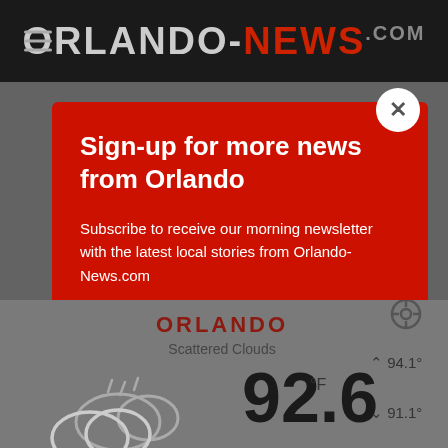ORLANDO-NEWS.com
Sign-up for more news from Orlando
Subscribe to receive our morning newsletter with the latest local stories from Orlando-News.com
Type your email
Subscribe
[Figure (infographic): Weather widget showing Orlando weather: Scattered Clouds, 92.6°F, high 94.1°, low 91.1°, with cloud icon]